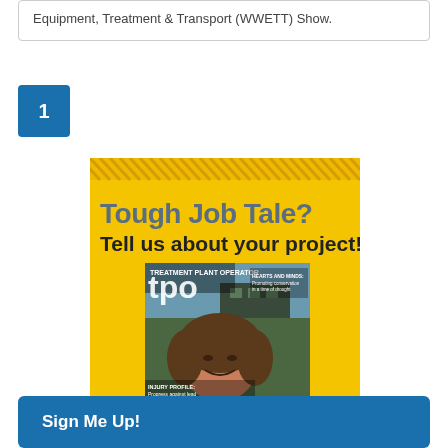Equipment, Treatment & Transport (WWETT) Show.
1
[Figure (illustration): Magazine cover for Treatment Plant Operator (tpo) with yellow background, diagonal stripe header, text 'Tough Job Tale? Tell us about your project!' and a photo of a smiling woman in front of a water treatment facility. Sub-headlines: HEARTS AND MINDS: Promoting conservation in a time of drought, Progress against lead in drinking water.]
Sign Me Up!